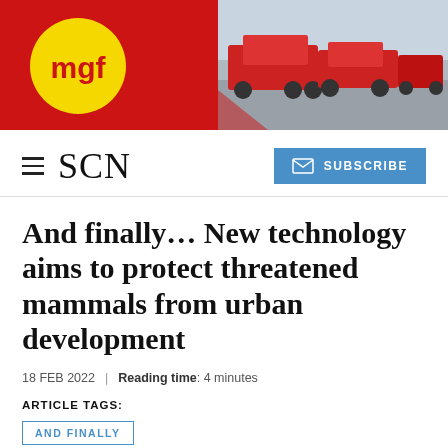[Figure (logo): MGF logo on red banner background with truck photo on right side]
SCN
And finally… New technology aims to protect threatened mammals from urban development
18 FEB 2022 | Reading time: 4 minutes
ARTICLE TAGS:
AND FINALLY
Researchers from the University of Glasgow